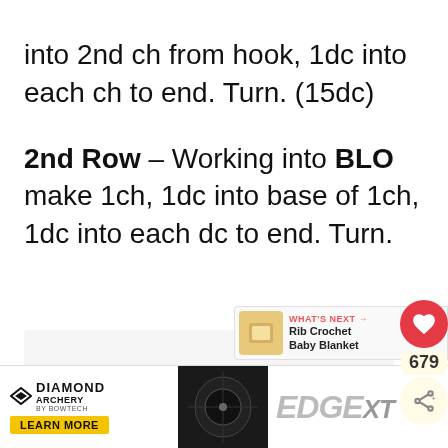into 2nd ch from hook, 1dc into each ch to end. Turn. (15dc)
2nd Row – Working into BLO make 1ch, 1dc into base of 1ch, 1dc into each dc to end. Turn.
[Figure (screenshot): Light gray content placeholder box]
[Figure (infographic): What's Next panel showing Rib Crochet Baby Blanket]
[Figure (infographic): Diamond Archery EDGE XT advertisement banner at bottom of page]